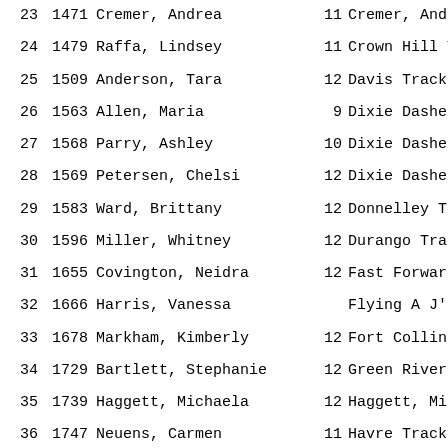| Place | Bib | Name | Age | Club |
| --- | --- | --- | --- | --- |
| 23 | 1471 | Cremer, Andrea | 11 | Cremer, And... |
| 24 | 1479 | Raffa, Lindsey | 11 | Crown Hill T... |
| 25 | 1509 | Anderson, Tara | 12 | Davis Track... |
| 26 | 1563 | Allen, Maria | 9 | Dixie Dashe... |
| 27 | 1568 | Parry, Ashley | 10 | Dixie Dashe... |
| 28 | 1569 | Petersen, Chelsi | 12 | Dixie Dashe... |
| 29 | 1583 | Ward, Brittany | 12 | Donnelley T... |
| 30 | 1596 | Miller, Whitney | 12 | Durango Tra... |
| 31 | 1655 | Covington, Neidra | 12 | Fast Forwar... |
| 32 | 1666 | Harris, Vanessa |  | Flying A J'... |
| 33 | 1678 | Markham, Kimberly | 12 | Fort Collin... |
| 34 | 1729 | Bartlett, Stephanie | 12 | Green River... |
| 35 | 1739 | Haggett, Michaela | 12 | Haggett, Mi... |
| 36 | 1747 | Neuens, Carmen | 11 | Havre Track... |
| 37 | 1798 | Sparks, Terissa | 11 | Indian Trac... |
| 38 | 1939 | Ollerich, Courtney | 12 | J.O.s. Ran... |